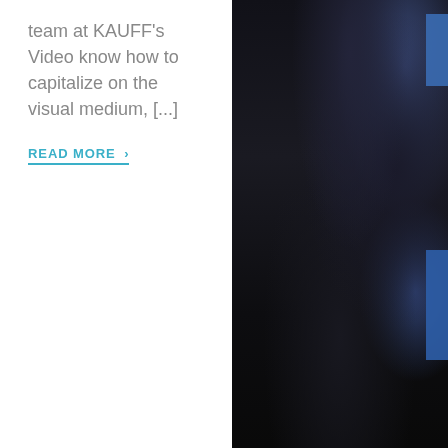team at KAUFF's Video know how to capitalize on the visual medium, [...]
READ MORE ›
[Figure (photo): Dark, blurred nighttime cityscape or indoor scene with blue rectangular accent elements on the right edge. Predominantly very dark background with subtle blue-toned highlights.]